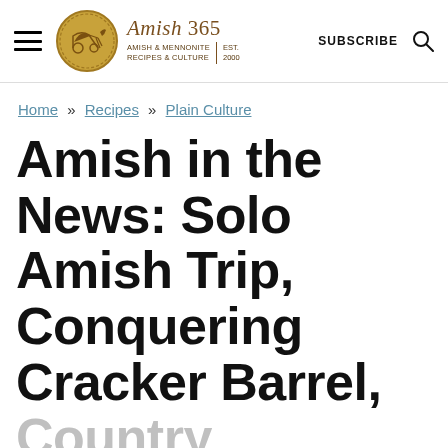Amish 365 — AMISH & MENNONITE RECIPES & CULTURE | EST. 2000 — SUBSCRIBE
Home » Recipes » Plain Culture
Amish in the News: Solo Amish Trip, Conquering Cracker Barrel, Country Recipes,